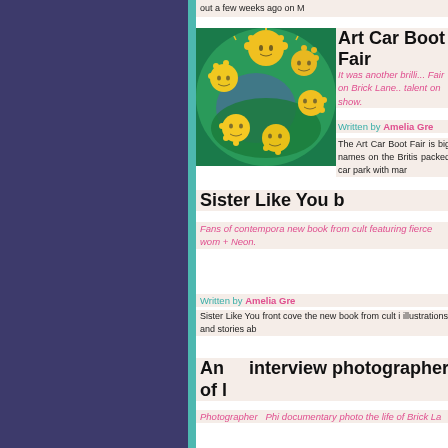out a few weeks ago on M
Art Car Boot Fair
[Figure (illustration): Colorful illustration of yellow sun-like figures with faces on a green background]
It was another brilli... Fair on Brick Lane.. talent on show.
Written by Amelia Gre
The Art Car Boot Fair is big names on the Britis packed car park with mar
Sister Like You b
Fans of contempora new book from cult featuring fierce wom + Neon.
Written by Amelia Gre
Sister Like You front cove the new book from cult i illustrations and stories ab
An interview photographer of l
Photographer Phi documentary photo the life of Brick La